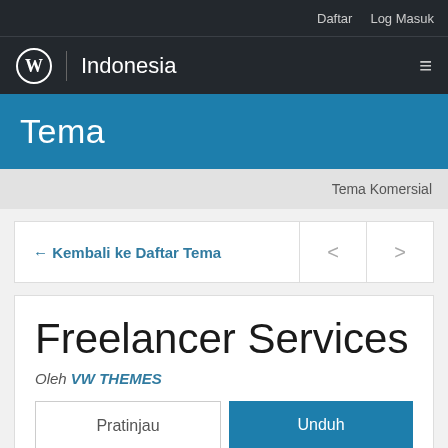Daftar   Log Masuk
Indonesia
Tema
Tema Komersial
← Kembali ke Daftar Tema
Freelancer Services
Oleh VW THEMES
Pratinjau   Unduh